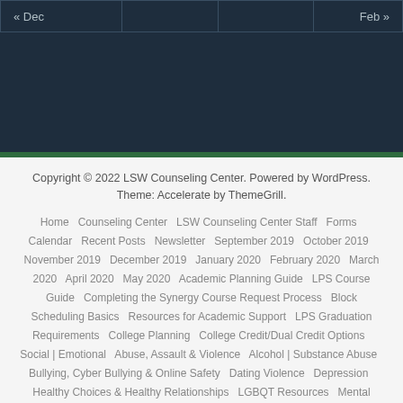| « Dec |  |  | Feb » |
Copyright © 2022 LSW Counseling Center. Powered by WordPress. Theme: Accelerate by ThemeGrill.
Home   Counseling Center   LSW Counseling Center Staff   Forms   Calendar   Recent Posts   Newsletter   September 2019   October 2019   November 2019   December 2019   January 2020   February 2020   March 2020   April 2020   May 2020   Academic Planning Guide   LPS Course Guide   Completing the Synergy Course Request Process   Block Scheduling Basics   Resources for Academic Support   LPS Graduation Requirements   College Planning   College Credit/Dual Credit Options   Social | Emotional   Abuse, Assault & Violence   Alcohol | Substance Abuse   Bullying, Cyber Bullying & Online Safety   Dating Violence   Depression   Healthy Choices & Healthy Relationships   LGBQT Resources   Mental Health & Self-Help   Suicide Prevention   College | Career Development   Paying for College   Families   Senior Family Meeting   Student Resources